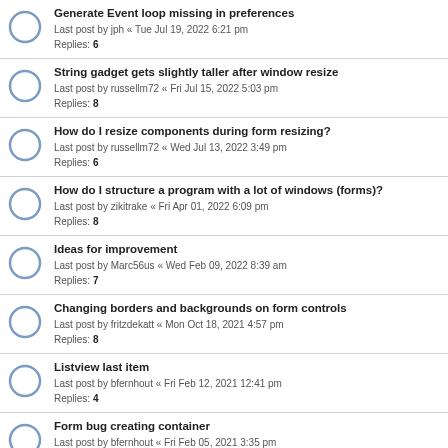Generate Event loop missing in preferences
Last post by jph « Tue Jul 19, 2022 6:21 pm
Replies: 6
String gadget gets slightly taller after window resize
Last post by russellm72 « Fri Jul 15, 2022 5:03 pm
Replies: 8
How do I resize components during form resizing?
Last post by russellm72 « Wed Jul 13, 2022 3:49 pm
Replies: 6
How do I structure a program with a lot of windows (forms)?
Last post by zikitrake « Fri Apr 01, 2022 6:09 pm
Replies: 8
Ideas for improvement
Last post by Marc56us « Wed Feb 09, 2022 8:39 am
Replies: 7
Changing borders and backgrounds on form controls
Last post by fritzdekatt « Mon Oct 18, 2021 4:57 pm
Replies: 8
Listview last item
Last post by bfernhout « Fri Feb 12, 2021 12:41 pm
Replies: 4
Form bug creating container
Last post by bfernhout « Fri Feb 05, 2021 3:35 pm
Replies: 2
Multiple window instances not supported
Last post by Joris « Sat Nov 21, 2020 1:55 pm
Replies: 2